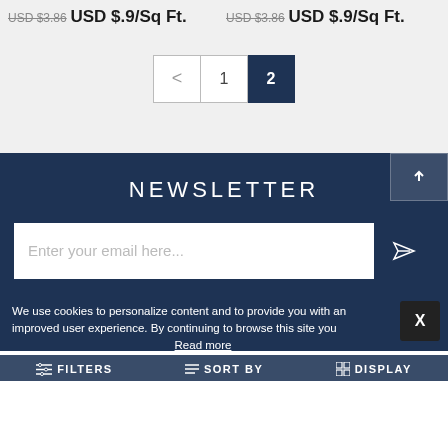USD $3.86  USD $.9/Sq Ft.
USD $3.86  USD $.9/Sq Ft.
< 1 2
NEWSLETTER
Enter your email here...
We use cookies to personalize content and to provide you with an improved user experience. By continuing to browse this site you
Read more
FILTERS  SORT BY  DISPLAY